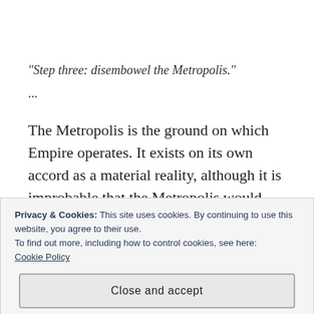“Step three: disembowel the Metropolis.”
...
The Metropolis is the ground on which Empire operates. It exists on its own accord as a material reality, although it is improbable that the Metropolis would last long without Empire to govern it. Despite its material existence, the
Privacy & Cookies: This site uses cookies. By continuing to use this website, you agree to their use.
To find out more, including how to control cookies, see here:
Cookie Policy
Close and accept
Metropolis to connect otherwise incommensurate